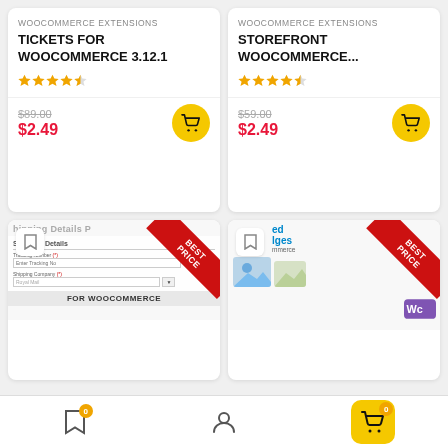[Figure (screenshot): Product card: Tickets for WooCommerce 3.12.1, 4.5 stars, original price $89.00, sale price $2.49 with cart button]
[Figure (screenshot): Product card: Storefront WooCommerce..., 4.5 stars, original price $59.00, sale price $2.49 with cart button]
[Figure (screenshot): Product card with BEST PRICE ribbon, shipping details plugin preview for WooCommerce]
[Figure (screenshot): Product card with BEST PRICE ribbon, WooCommerce images/badges plugin preview]
[Figure (infographic): Bottom navigation bar with bookmark (badge 0), user profile, and cart (badge 0) icons]